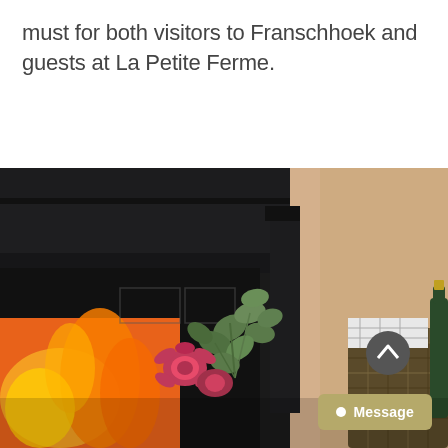must for both visitors to Franschhoek and guests at La Petite Ferme.
[Figure (photo): A cozy interior scene featuring a black fireplace with an open fire burning brightly. In the foreground, there are pink protea flowers mixed with eucalyptus greenery in a vase. To the right, a wicker picnic basket with a bottle of wine and food items. The background shows a warm, light peach-colored wall.]